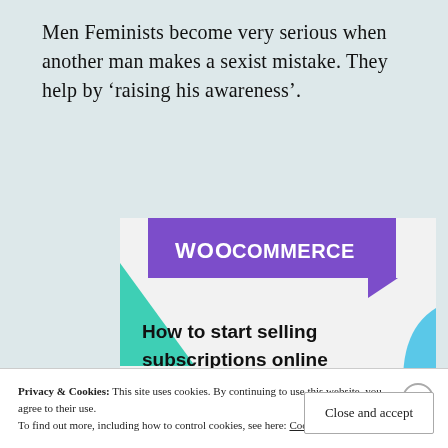Men Feminists become very serious when another man makes a sexist mistake. They help by ‘raising his awareness’.
[Figure (screenshot): WooCommerce advertisement banner showing purple header with WooCommerce logo, green triangle shape, blue curved shape, headline 'How to start selling subscriptions online', and a purple 'Start a new store' button.]
Privacy & Cookies: This site uses cookies. By continuing to use this website, you agree to their use.
To find out more, including how to control cookies, see here: Cookie Policy